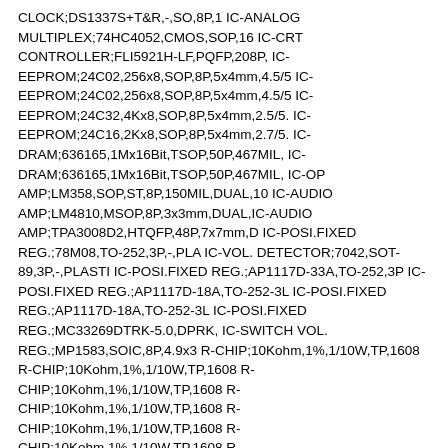CLOCK;DS1337S+T&R,-,SO,8P,1 IC-ANALOG MULTIPLEX;74HC4052,CMOS,SOP,16 IC-CRT CONTROLLER;FLI5921H-LF,PQFP,208P, IC-EEPROM;24C02,256x8,SOP,8P,5x4mm,4.5/5 IC-EEPROM;24C02,256x8,SOP,8P,5x4mm,4.5/5 IC-EEPROM;24C32,4Kx8,SOP,8P,5x4mm,2.5/5. IC-EEPROM;24C16,2Kx8,SOP,8P,5x4mm,2.7/5. IC-DRAM;636165,1Mx16Bit,TSOP,50P,467MIL, IC-DRAM;636165,1Mx16Bit,TSOP,50P,467MIL, IC-OP AMP;LM358,SOP,ST,8P,150MIL,DUAL,10 IC-AUDIO AMP;LM4810,MSOP,8P,3x3mm,DUAL,IC-AUDIO AMP;TPA3008D2,HTQFP,48P,7x7mm,D IC-POSI.FIXED REG.;78M08,TO-252,3P,-,PLA IC-VOL. DETECTOR;7042,SOT-89,3P,-,PLASTI IC-POSI.FIXED REG.;AP1117D-33A,TO-252,3P IC-POSI.FIXED REG.;AP1117D-18A,TO-252-3L IC-POSI.FIXED REG.;AP1117D-18A,TO-252-3L IC-POSI.FIXED REG.;MC33269DTRK-5.0,DPRK, IC-SWITCH VOL. REG.;MP1583,SOIC,8P,4.9x3 R-CHIP;10Kohm,1%,1/10W,TP,1608 R-CHIP;10Kohm,1%,1/10W,TP,1608 R-CHIP;10Kohm,1%,1/10W,TP,1608 R-CHIP;10Kohm,1%,1/10W,TP,1608 R-CHIP;10Kohm,1%,1/10W,TP,1608 R-CHIP;10Kohm,1%,1/10W,TP,1608 R-CHIP;10Kohm,1%,1/10W,TP,1608 R-